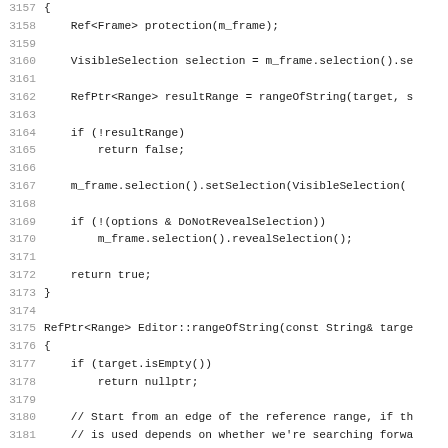[Figure (screenshot): Source code listing showing C++ code for Editor selection and rangeOfString functions, lines 3157-3188+]